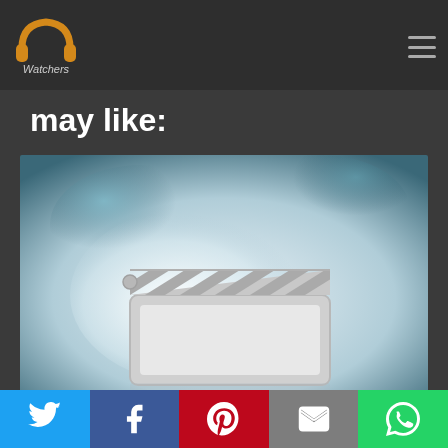PP Watchers
may like:
[Figure (illustration): Movie clapperboard icon on a blue-white gradient background suggesting a cinema/video placeholder image]
Social sharing bar: Twitter, Facebook, Pinterest, Email, WhatsApp